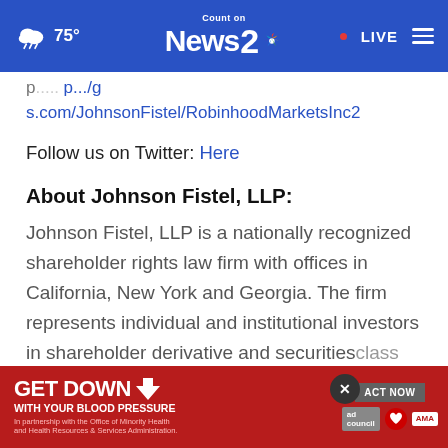Count on News 2 | LIVE | 75°
p...s.com/JohnsonFistel/RobinhoodMarketsInc2
Follow us on Twitter: Here
About Johnson Fistel, LLP:
Johnson Fistel, LLP is a nationally recognized shareholder rights law firm with offices in California, New York and Georgia. The firm represents individual and institutional investors in shareholder derivative and securities class actions... losses incurred due to violations of federal
[Figure (other): GET DOWN WITH YOUR BLOOD PRESSURE advertisement banner with ACT NOW button, ad council, American Heart Association and AMA logos]